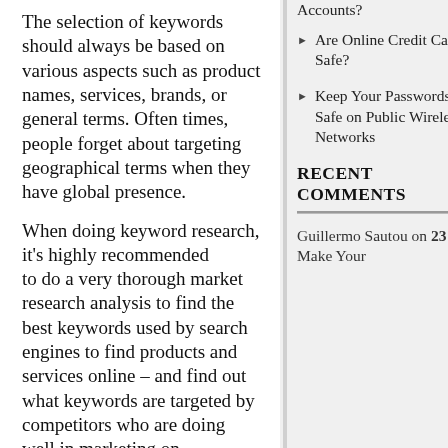The selection of keywords should always be based on various aspects such as product names, services, brands, or general terms. Often times, people forget about targeting geographical terms when they have global presence.
When doing keyword research, it's highly recommended to do a very thorough market research analysis to find the best keywords used by search engines to find products and services online – and find out what keywords are targeted by competitors who are doing well in marketing on
Accounts?
Are Online Credit Cards Safe?
Keep Your Passwords Safe on Public Wireless Networks
RECENT COMMENTS
Guillermo Sautou on 23 – Make Your